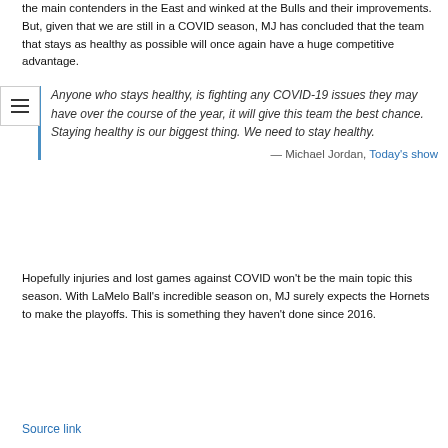the main contenders in the East and winked at the Bulls and their improvements. But, given that we are still in a COVID season, MJ has concluded that the team that stays as healthy as possible will once again have a huge competitive advantage.
"Anyone who stays healthy, is fighting any COVID-19 issues they may have over the course of the year, it will give this team the best chance. Staying healthy is our biggest thing. We need to stay healthy." — Michael Jordan, Today's show
Hopefully injuries and lost games against COVID won't be the main topic this season. With LaMelo Ball's incredible season on, MJ surely expects the Hornets to make the playoffs. This is something they haven't done since 2016.
Source link